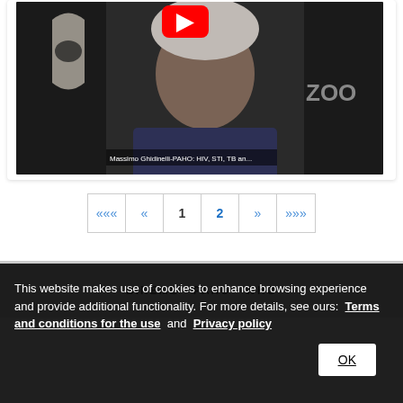[Figure (screenshot): Video player screenshot showing a man on a Zoom call. Name tag reads 'Massimo Ghidinelli-PAHO: HIV, STI, TB an...' YouTube logo visible at top center. 'ZOO' text visible on right side (Zoom branding).]
«« « 1 2 » »»
BIREME · PAHO · WHO
This website makes use of cookies to enhance browsing experience and provide additional functionality. For more details, see ours: Terms and conditions for the use and Privacy policy
OK